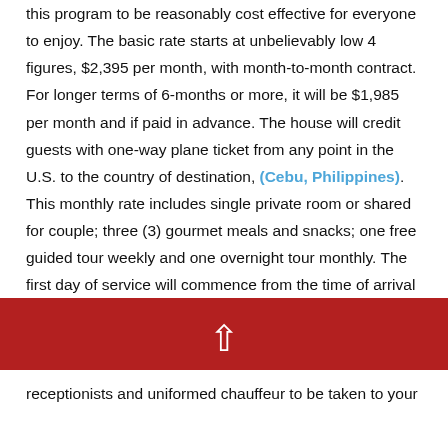this program to be reasonably cost effective for everyone to enjoy. The basic rate starts at unbelievably low 4 figures, $2,395 per month, with month-to-month contract. For longer terms of 6-months or more, it will be $1,985 per month and if paid in advance. The house will credit guests with one-way plane ticket from any point in the U.S. to the country of destination, (Cebu, Philippines). This monthly rate includes single private room or shared for couple; three (3) gourmet meals and snacks; one free guided tour weekly and one overnight tour monthly. The first day of service will commence from the time of arrival and ends at the time of
[Figure (other): Red navigation bar with a white upward arrow icon]
receptionists and uniformed chauffeur to be taken to your